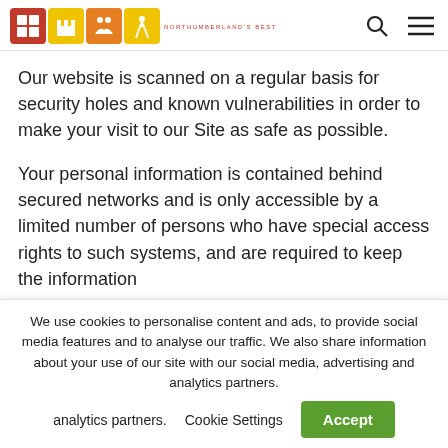Northumberland's Best — navigation header with logo icons, search and menu
Our website is scanned on a regular basis for security holes and known vulnerabilities in order to make your visit to our Site as safe as possible.
Your personal information is contained behind secured networks and is only accessible by a limited number of persons who have special access rights to such systems, and are required to keep the information confidential.
We use cookies to personalise content and ads, to provide social media features and to analyse our traffic. We also share information about your use of our site with our social media, advertising and analytics partners.   Cookie Settings   Accept